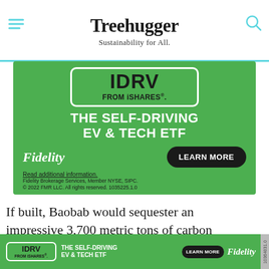Treehugger — Sustainability for All.
[Figure (infographic): Fidelity IDRV iShares advertisement banner — The Self-Driving EV & Tech ETF with Learn More button]
If built, Baobab would sequester an impressive 3,700 metric tons of carbon dioxide — the equivalent of
[Figure (infographic): Fidelity IDRV iShares sticky bottom advertisement — The Self-Driving EV & Tech ETF with Learn More button]